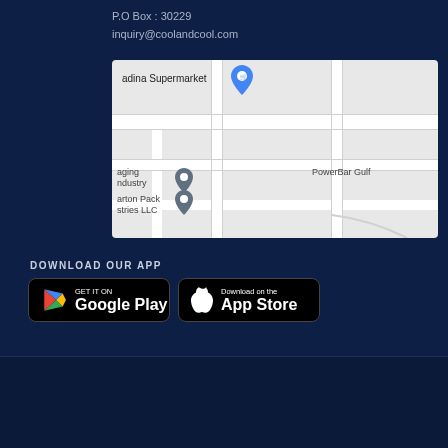P.O Box : 30229
inquiry@coolandcool.com
[Figure (map): Google Maps screenshot showing street map with location pins for 'adina Supermarket', 'aging Industry', 'arton Pack istries LLC', and 'PowerBar Gulf']
DOWNLOAD OUR APP
[Figure (other): Google Play Store download button]
[Figure (other): Apple App Store download button]
© 2021 Cool & Cool UAE. All rights reserved.
[Figure (other): Social media icons: Facebook, YouTube/Play, Instagram]